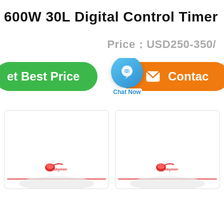600W 30L Digital Control Timer
Price：USD250-350/
[Figure (screenshot): Green 'Get Best Price' button, blue 'Chat Now' chat bubble icon, and orange 'Contact' button side by side]
[Figure (photo): Two product image cards with Skymen logo at bottom, showing ultrasonic cleaner products]